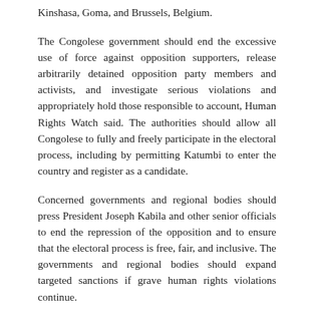Kinshasa, Goma, and Brussels, Belgium.
The Congolese government should end the excessive use of force against opposition supporters, release arbitrarily detained opposition party members and activists, and investigate serious violations and appropriately hold those responsible to account, Human Rights Watch said. The authorities should allow all Congolese to fully and freely participate in the electoral process, including by permitting Katumbi to enter the country and register as a candidate.
Concerned governments and regional bodies should press President Joseph Kabila and other senior officials to end the repression of the opposition and to ensure that the electoral process is free, fair, and inclusive. The governments and regional bodies should expand targeted sanctions if grave human rights violations continue.
On August 1, security forces fired teargas and live